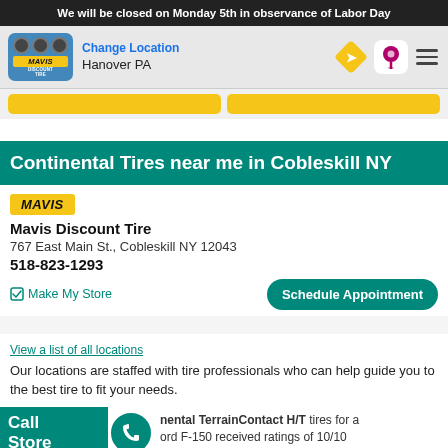We will be closed on Monday 5th in observance of Labor Day
[Figure (screenshot): Mavis Discount Tire navigation bar with logo, Change Location / Hanover PA text, direction icon, map pin icon, and hamburger menu icon]
Continental Tires near me in Cobleskill NY
[Figure (logo): MAVIS yellow italic badge/logo]
Mavis Discount Tire
767 East Main St., Cobleskill NY 12043
518-823-1293
Make My Store
View a list of all locations
Our locations are staffed with tire professionals who can help guide you to the best tire to fit your needs.
Continental TerrainContact H/T tires for a Ford F-150 received ratings of 10/10